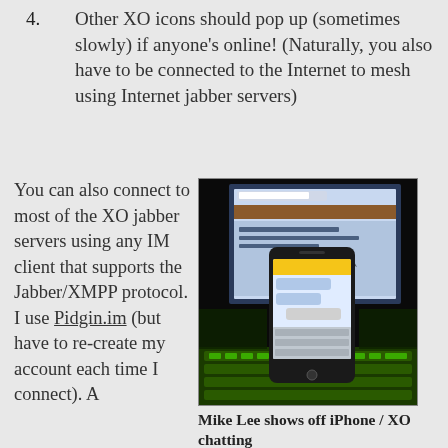4. Other XO icons should pop up (sometimes slowly) if anyone's online! (Naturally, you also have to be connected to the Internet to mesh using Internet jabber servers)
You can also connect to most of the XO jabber servers using any IM client that supports the Jabber/XMPP protocol. I use Pidgin.im (but have to re-create my account each time I connect). A
[Figure (photo): Photo of an iPhone being held in front of an XO laptop screen, showing a chat interface on the iPhone. The XO laptop's green keyboard is visible. Dark background.]
Mike Lee shows off iPhone / XO chatting